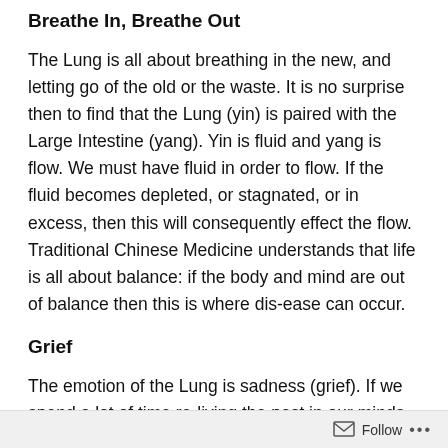Breathe In, Breathe Out
The Lung is all about breathing in the new, and letting go of the old or the waste. It is no surprise then to find that the Lung (yin) is paired with the Large Intestine (yang). Yin is fluid and yang is flow. We must have fluid in order to flow. If the fluid becomes depleted, or stagnated, or in excess, then this will consequently effect the flow. Traditional Chinese Medicine understands that life is all about balance: if the body and mind are out of balance then this is where dis-ease can occur.
Grief
The emotion of the Lung is sadness (grief). If we spend a lot of time re-living the past in our minds, or having strong attachments, this can deplete our Lung energy and create deficiency. Of course it is only natural and
Follow